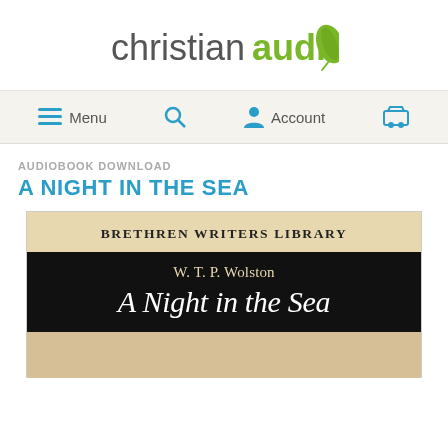[Figure (logo): christianaudio logo with green leaf icon]
Menu  [search icon]  Account  [cart icon]
AUDIOBOOK DOWNLOAD
A NIGHT IN THE SEA
[Figure (illustration): Book cover for 'A Night in the Sea' by W. T. P. Wolston, part of the Brethren Writers Library series. Top section shows 'BRETHREN WRITERS LIBRARY' on a tan/parchment background. Middle section is black with the author name 'W. T. P. Wolston' and title 'A Night in the Sea' in large italic white text. Bottom fades to a lighter tan/gold color.]